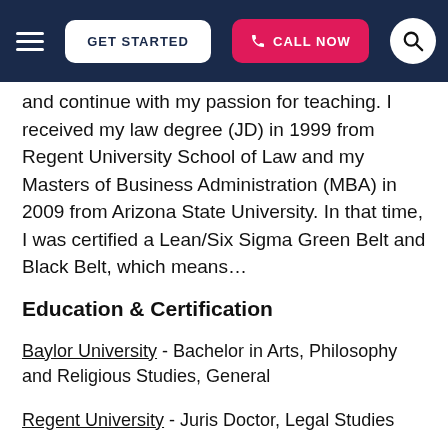GET STARTED | CALL NOW
and continue with my passion for teaching. I received my law degree (JD) in 1999 from Regent University School of Law and my Masters of Business Administration (MBA) in 2009 from Arizona State University. In that time, I was certified a Lean/Six Sigma Green Belt and Black Belt, which means…
Education & Certification
Baylor University - Bachelor in Arts, Philosophy and Religious Studies, General
Regent University - Juris Doctor, Legal Studies
Arizona State University - Masters in Business Administration, Business Administration and Management